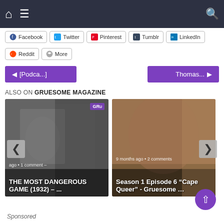[Figure (screenshot): Website navigation bar with home icon, hamburger menu, and search icon on dark background]
Facebook
Twitter
Pinterest
Tumblr
LinkedIn
Reddit
More
[Figure (screenshot): Pagination buttons: previous [Podca...] and next Thomas...]
ALSO ON GRUESOME MAGAZINE
[Figure (photo): Black and white movie still card: THE MOST DANGEROUS GAME (1932) – ... with left/right navigation arrows and comment count]
[Figure (photo): Color photo card: Season 1 Episode 6 Cape Queer - Gruesome ... 9 months ago 2 comments]
Sponsored